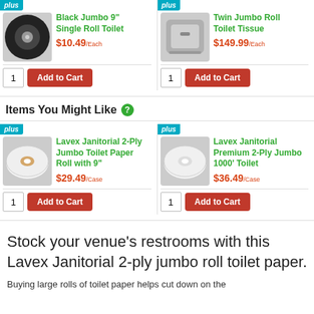[Figure (photo): Black Jumbo 9" Single Roll Toilet paper dispenser product image]
Black Jumbo 9" Single Roll Toilet
$10.49 /Each
[Figure (photo): Twin Jumbo Roll Toilet Tissue stainless dispenser product image]
Twin Jumbo Roll Toilet Tissue
$149.99 /Each
Items You Might Like
[Figure (photo): Lavex Janitorial 2-Ply Jumbo Toilet Paper Roll with 9" product image]
Lavex Janitorial 2-Ply Jumbo Toilet Paper Roll with 9"
$29.49 /Case
[Figure (photo): Lavex Janitorial Premium 2-Ply Jumbo 1000' Toilet paper roll product image]
Lavex Janitorial Premium 2-Ply Jumbo 1000' Toilet
$36.49 /Case
Stock your venue's restrooms with this Lavex Janitorial 2-ply jumbo roll toilet paper.
Buying large rolls of toilet paper helps cut down on the